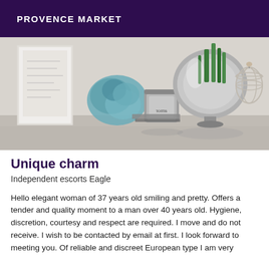PROVENCE MARKET
[Figure (photo): Interior decor still life photo showing a candle jar, a round metallic vase with green plant, books, and a wire cage ornament on a white surface.]
Unique charm
Independent escorts Eagle
Hello elegant woman of 37 years old smiling and pretty. Offers a tender and quality moment to a man over 40 years old. Hygiene, discretion, courtesy and respect are required. I move and do not receive. I wish to be contacted by email at first. I look forward to meeting you. Of reliable and discreet European type I am very